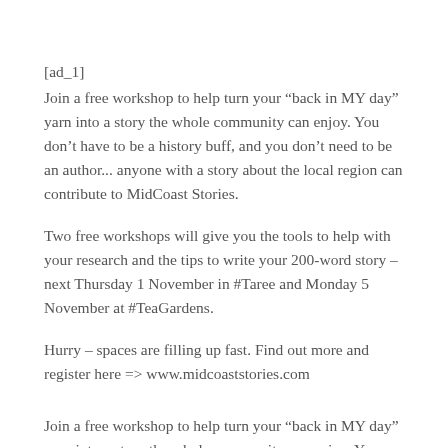[ad_1]
Join a free workshop to help turn your “back in MY day” yarn into a story the whole community can enjoy. You don’t have to be a history buff, and you don’t need to be an author... anyone with a story about the local region can contribute to MidCoast Stories.
Two free workshops will give you the tools to help with your research and the tips to write your 200-word story – next Thursday 1 November in #Taree and Monday 5 November at #TeaGardens.
Hurry – spaces are filling up fast. Find out more and register here => www.midcoaststories.com
Join a free workshop to help turn your “back in MY day” yarn into a story the whole community can enjoy. You